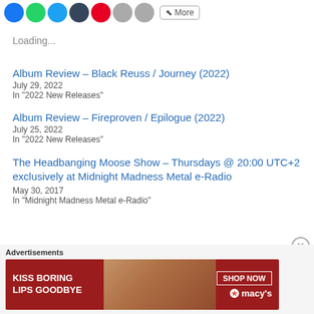[Figure (other): Social media sharing icons: Facebook (blue), WhatsApp (green), Twitter (blue), Tumblr (dark blue), Pinterest (red), Email (gray), Print (gray), and a More button]
Loading...
Album Review – Black Reuss / Journey (2022)
July 29, 2022
In "2022 New Releases"
Album Review – Fireproven / Epilogue (2022)
July 25, 2022
In "2022 New Releases"
The Headbanging Moose Show – Thursdays @ 20:00 UTC+2 exclusively at Midnight Madness Metal e-Radio
May 30, 2017
In "Midnight Madness Metal e-Radio"
Advertisements
[Figure (illustration): Macy's advertisement banner: KISS BORING LIPS GOODBYE with SHOP NOW button and Macy's star logo on dark red background with woman's face photo]